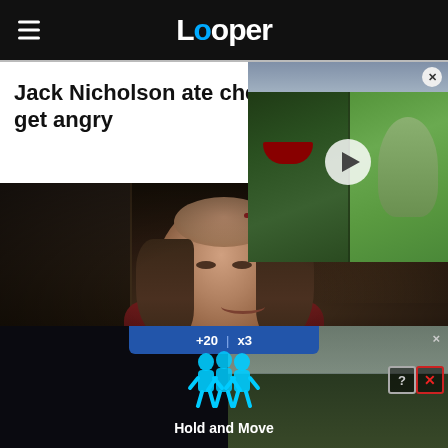Looper
Jack Nicholson ate che... get angry
[Figure (screenshot): Video thumbnail showing split-face image of Hulk (left, green angry face) and She-Hulk (right, green female face) with play button overlay and close button]
[Figure (photo): Jack Nicholson smiling scene from The Shining, wearing dark red shirt, in a darkened interior room setting]
[Figure (screenshot): Bottom advertisement showing a sports game UI with scoreboard showing +20 and x3, football player icons, 'Hold and Move' text, and outdoor background with trees. Has X close button and help/close buttons.]